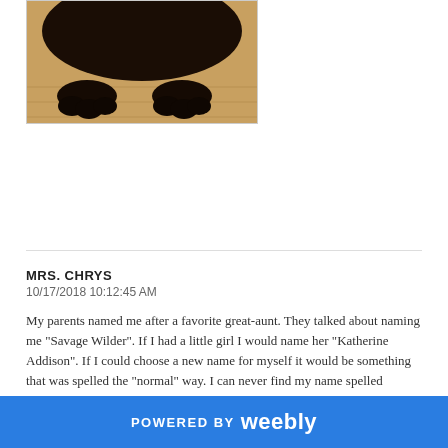[Figure (photo): Partial photo of a dark-colored dog lying on a wooden floor, showing paws and lower body]
MRS. CHRYS
10/17/2018 10:12:45 AM
My parents named me after a favorite great-aunt. They talked about naming me "Savage Wilder". If I had a little girl I would name her "Katherine Addison". If I could choose a new name for myself it would be something that was spelled the "normal" way. I can never find my name spelled correctly!
REPLY
POWERED BY weebly